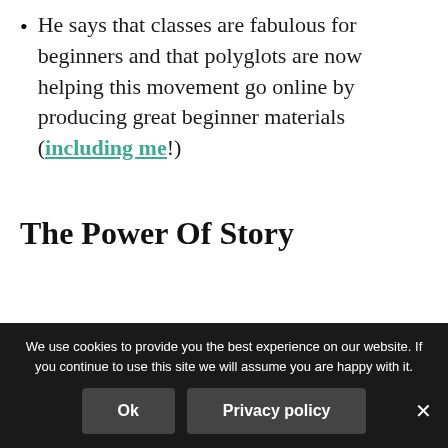He says that classes are fabulous for beginners and that polyglots are now helping this movement go online by producing great beginner materials (including me!)
The Power Of Story
We use cookies to provide you the best experience on our website. If you continue to use this site we will assume you are happy with it.